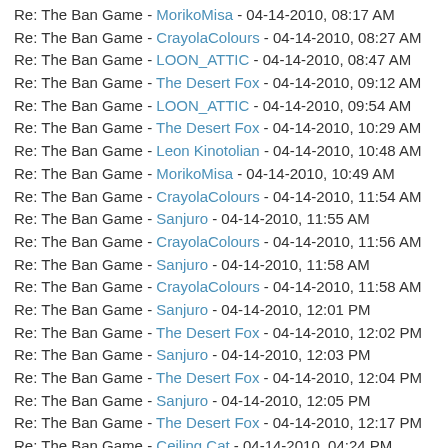Re: The Ban Game - MorikoMisa - 04-14-2010, 08:17 AM
Re: The Ban Game - CrayolaColours - 04-14-2010, 08:27 AM
Re: The Ban Game - LOON_ATTIC - 04-14-2010, 08:47 AM
Re: The Ban Game - The Desert Fox - 04-14-2010, 09:12 AM
Re: The Ban Game - LOON_ATTIC - 04-14-2010, 09:54 AM
Re: The Ban Game - The Desert Fox - 04-14-2010, 10:29 AM
Re: The Ban Game - Leon Kinotolian - 04-14-2010, 10:48 AM
Re: The Ban Game - MorikoMisa - 04-14-2010, 10:49 AM
Re: The Ban Game - CrayolaColours - 04-14-2010, 11:54 AM
Re: The Ban Game - Sanjuro - 04-14-2010, 11:55 AM
Re: The Ban Game - CrayolaColours - 04-14-2010, 11:56 AM
Re: The Ban Game - Sanjuro - 04-14-2010, 11:58 AM
Re: The Ban Game - CrayolaColours - 04-14-2010, 11:58 AM
Re: The Ban Game - Sanjuro - 04-14-2010, 12:01 PM
Re: The Ban Game - The Desert Fox - 04-14-2010, 12:02 PM
Re: The Ban Game - Sanjuro - 04-14-2010, 12:03 PM
Re: The Ban Game - The Desert Fox - 04-14-2010, 12:04 PM
Re: The Ban Game - Sanjuro - 04-14-2010, 12:05 PM
Re: The Ban Game - The Desert Fox - 04-14-2010, 12:17 PM
Re: The Ban Game - Ceiling Cat - 04-14-2010, 04:24 PM
Re: The Ban Game - LOON_ATTIC - 04-14-2010, 05:03 PM
Re: The Ban Game - The Desert Fox - 04-14-2010, 06:31 PM
Re: The Ban Game - MorikoMisa - 04-15-2010, 07:41 AM